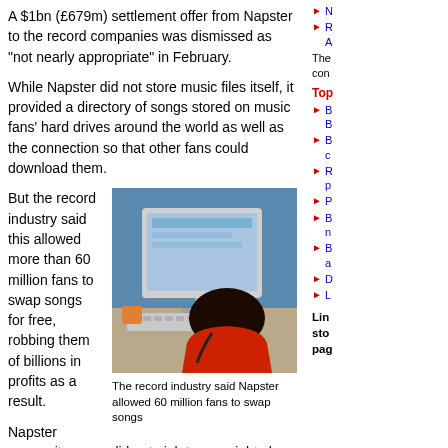A $1bn (£679m) settlement offer from Napster to the record companies was dismissed as "not nearly appropriate" in February.
While Napster did not store music files itself, it provided a directory of songs stored on music fans' hard drives around the world as well as the connection so that other fans could download them.
But the record industry said this allowed more than 60 million fans to swap songs for free, robbing them of billions in profits as a result.
[Figure (photo): Person sitting at a computer with headphones, viewed from behind]
The record industry said Napster allowed 60 million fans to swap songs
Napster argues its users did not violate copyrights by trading songs for free because they shared files for non-commercial use.
The judge's decision will coincide with a publishing deal to allow major record companies to launch their own, paid-for download services.
In July, Judge Patel issued a temporary injunction
N
R A
The con
Top
B B
B c
R p
P
B n
B a
D
L
Lin sto pag